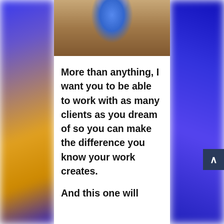[Figure (photo): Woman in blue dress sitting, smiling, in interior setting]
More than anything, I want you to be able to work with as many clients as you dream of so you can make the difference you know your work creates.
And this one will